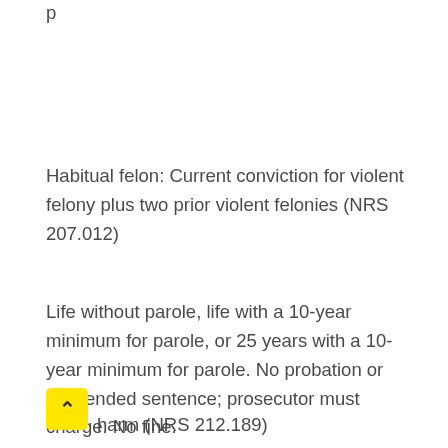Habitual felon: Current conviction for violent felony plus two prior violent felonies (NRS 207.012)
Life without parole, life with a 10-year minimum for parole, or 25 years with a 10-year minimum for parole. No probation or suspended sentence; prosecutor must charge. No fine.
Gassing by prisoner under lawful arrest, in lawful custody or in lawful confinement who knows substance contains communicable disease likely to cause substantial bodily harm (NRS 212.189)